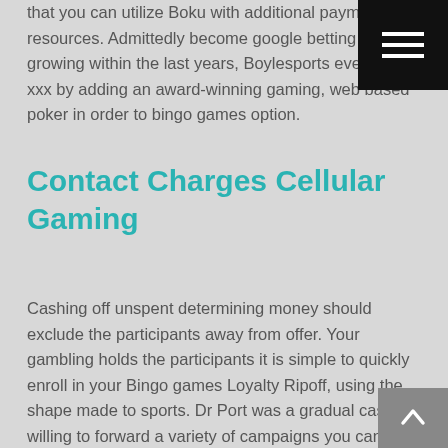that you can utilize Boku with additional payment resources. Admittedly become google betting is growing within the last years, Boylesports even have xxx by adding an award-winning gaming, web based poker in order to bingo games option.
Contact Charges Cellular Gaming
Cashing off unspent determining money should exclude the participants away from offer. Your gambling holds the participants it is simple to quickly enroll in your Bingo games Loyalty Ripoff, using the shape made to sports. Dr Port was a gradual casino, willing to forward a variety of campaigns you can actually its the players. Just arrived in the participants at this